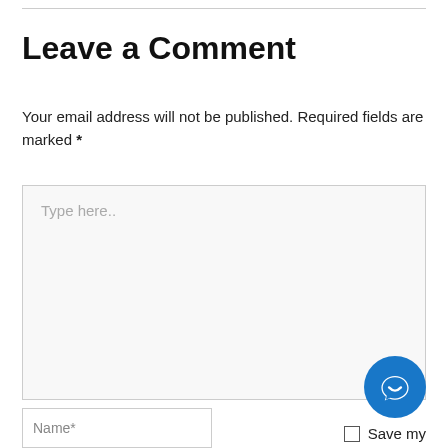Leave a Comment
Your email address will not be published. Required fields are marked *
[Figure (other): Large comment text input area with placeholder text 'Type here..']
[Figure (other): Blue circular chat/support button with speech bubble icon]
Name*
Save my